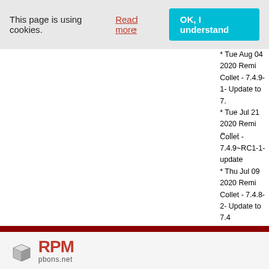This page is using cookies. Read more  OK, I understand
* Tue Aug 04 2020 Remi Collet - 7.4.9-1- Update to 7.
* Tue Jul 21 2020 Remi Collet - 7.4.9~RC1-1- update
* Thu Jul 09 2020 Remi Collet - 7.4.8-2- Update to 7.4 new sources
* Tue Jul 07 2020 Remi Collet - 7.4.8-1- Update to 7.4
* Mon Jul 06 2020 Remi Collet - 7.4.8~RC1-2- display
* Tue Jun 23 2020 Remi Collet - 7.4.8~RC1-1- update
* Tue Jun 09 2020 Remi Collet - 7.4.7-1- Update to 7. using oniguruma5php- build phpdbg only once
* Tue May 26 2020 Remi Collet - 7.4.7~RC1-1- updat
* Wed May 20 2020 Remi Collet - 7.4.6-2- use php-co
* Tue May 12 2020 Remi Collet - 7.4.6-1- Update to 7
* Wed Apr 29 2020 Remi Collet - 7.4.6~RC1-1- updat
* Tue Apr 14 2020 Remi Collet - 7.4.5-1- Update to 7.
* Tue Mar 31 2020 Remi Collet - 7.4.5~RC1-1- updat
* Tue Mar 17 2020 Remi Collet - 7.4.4-1- Update to 7 client library version 19.6 (18.5 on EL-6)
* Tue Mar 03 2020 Remi Collet - 7.4.4~RC1-1- updat
* Tue Feb 18 2020 Remi Collet - 7.4.3-1- Update to 7
* Tue Feb 04 2020 Remi Collet - 7.4.3~RC1-1- updat
* Tue Jan 28 2020 Remi Collet - 7.4.2-2- make sodium https://github.com/remicollet/remirepo/issues/137
* Tue Jan 21 2020 Remi Collet - 7.4.2-1- Update to 7.
[Figure (logo): RPM pbons.net logo with a 3D box icon in grey, RPM in dark red bold text, pbons.net in grey smaller text]
RPM pbons.net